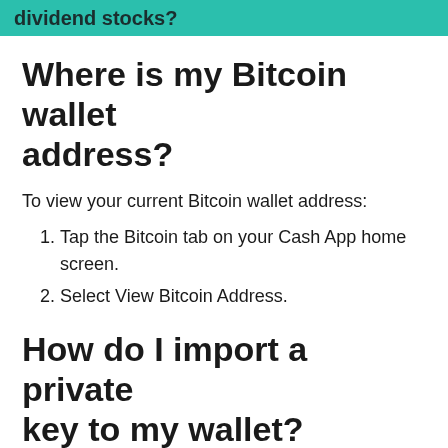dividend stocks?
Where is my Bitcoin wallet address?
To view your current Bitcoin wallet address:
Tap the Bitcoin tab on your Cash App home screen.
Select View Bitcoin Address.
How do I import a private key to my wallet?
Open your Guarda Wallet and go into the Add new wallet tab under the general list of your wallets. Then select Import and find the currency you want to import, then enter the